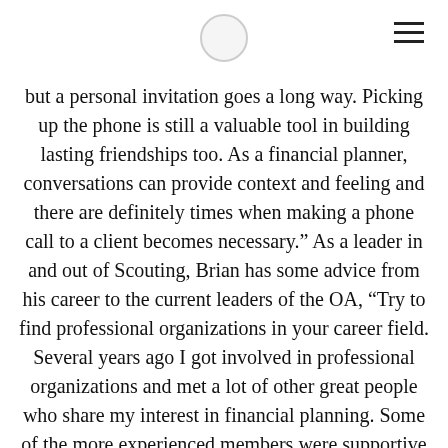but a personal invitation goes a long way. Picking up the phone is still a valuable tool in building lasting friendships too. As a financial planner, conversations can provide context and feeling and there are definitely times when making a phone call to a client becomes necessary.” As a leader in and out of Scouting, Brian has some advice from his career to the current leaders of the OA, “Try to find professional organizations in your career field. Several years ago I got involved in professional organizations and met a lot of other great people who share my interest in financial planning. Some of the more experienced members were supportive and